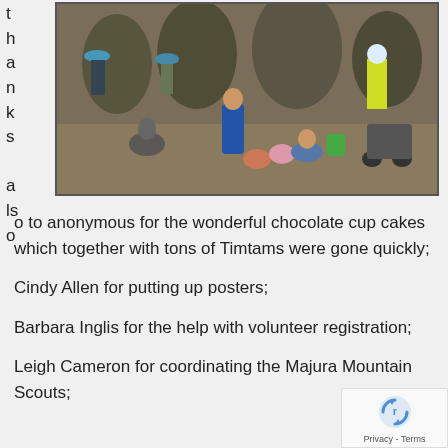thanks also
[Figure (photo): Group of volunteers including adults and children working outdoors among trees, some wearing high-visibility vests.]
o to anonymous for the wonderful chocolate cup cakes which together with tons of Timtams were gone quickly;
Cindy Allen for putting up posters;
Barbara Inglis for the help with volunteer registration;
Leigh Cameron for coordinating the Majura Mountain Scouts;